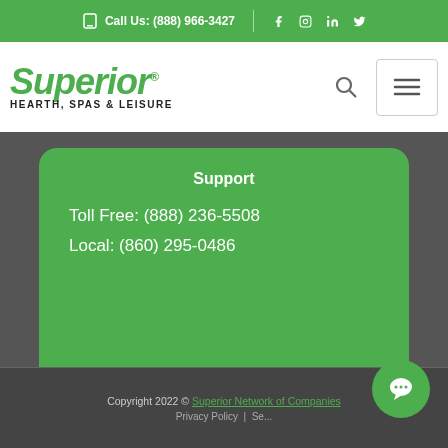Call Us: (888) 966-3427
[Figure (logo): Superior Hearth, Spas & Leisure logo in green italic font]
Support
Toll Free: (888) 236-5508
Local: (860) 295-0486
Copyright 2022 © Superior Network of Companies